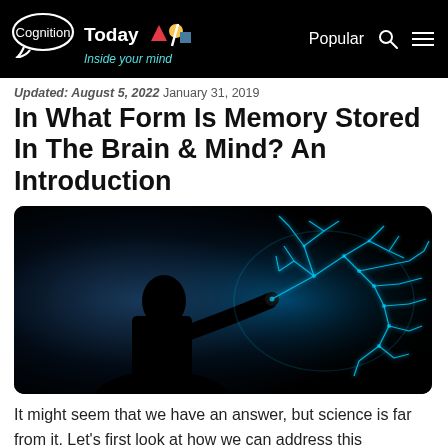Cognition Today — Inside your mind | Popular
Updated: August 5, 2022 January 31, 2019
In What Form Is Memory Stored In The Brain & Mind? An Introduction
[Figure (photo): Silhouette of a person pointing at a glowing blue neural/brain network illustration on a dark background, representing memory storage in the brain.]
It might seem that we have an answer, but science is far from it. Let's first look at how we can address this